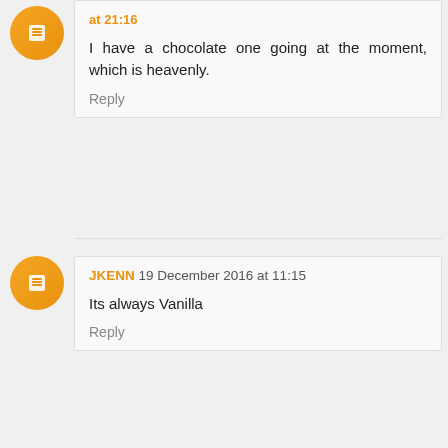at 21:16
I have a chocolate one going at the moment, which is heavenly.
Reply
JKENN 19 December 2016 at 11:15
Its always Vanilla
Reply
twannywun 19 December 2016 at 18:42
lavender
Reply
Ali Johnson 20 December 2016 at 00:38
I love vanilla scented candles
Reply